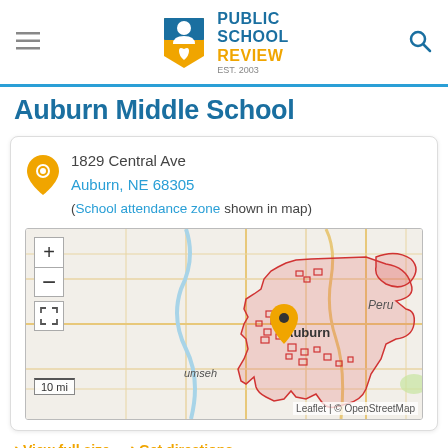Public School Review — EST. 2003
Auburn Middle School
1829 Central Ave
Auburn, NE 68305
(School attendance zone shown in map)
[Figure (map): Street map showing Auburn, Nebraska area with a pink shaded school attendance zone boundary, an orange map pin marker indicating the school location near Auburn, zoom controls (+/-) and expand button on the left, towns labeled including Peru and Tecumseh (umseh visible), scale bar showing 10 mi, Leaflet | © OpenStreetMap attribution at bottom right.]
View full size   Get directions